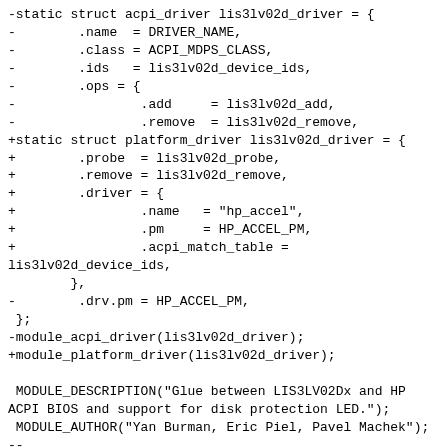-static struct acpi_driver lis3lv02d_driver = {
-        .name  = DRIVER_NAME,
-        .class = ACPI_MDPS_CLASS,
-        .ids   = lis3lv02d_device_ids,
-        .ops = {
-                .add    = lis3lv02d_add,
-                .remove  = lis3lv02d_remove,
+static struct platform_driver lis3lv02d_driver = {
+        .probe  = lis3lv02d_probe,
+        .remove = lis3lv02d_remove,
+        .driver = {
+                .name   = "hp_accel",
+                .pm     = HP_ACCEL_PM,
+                .acpi_match_table =
lis3lv02d_device_ids,
        },
-        .drv.pm = HP_ACCEL_PM,
 };
-module_acpi_driver(lis3lv02d_driver);
+module_platform_driver(lis3lv02d_driver);

 MODULE_DESCRIPTION("Glue between LIS3LV02Dx and HP
ACPI BIOS and support for disk protection LED.");
 MODULE_AUTHOR("Yan Burman, Eric Piel, Pavel Machek");
--
2.32.0
^ permalink raw reply   [flat|nested] 7+ messages in thread